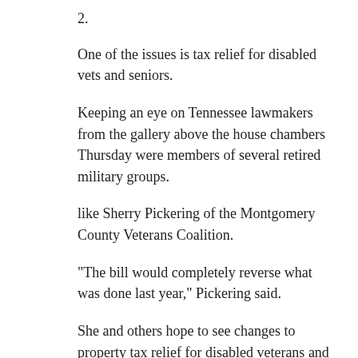2.
One of the issues is tax relief for disabled vets and seniors.
Keeping an eye on Tennessee lawmakers from the gallery above the house chambers Thursday were members of several retired military groups.
like Sherry Pickering of the Montgomery County Veterans Coalition.
“The bill would completely reverse what was done last year,” Pickering said.
She and others hope to see changes to property tax relief for disabled veterans and senior citizens.
“For some reason last year, they decided they were going to lift or raise the income levels and property